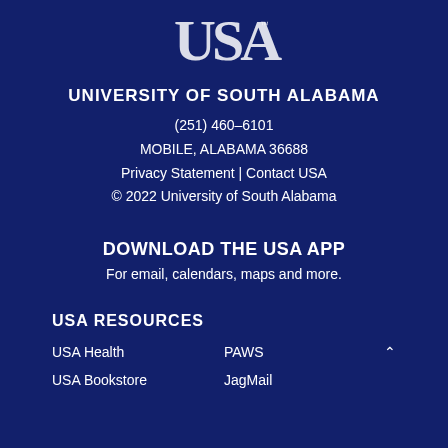[Figure (logo): University of South Alabama logo - stylized USA letters in white on dark navy background]
UNIVERSITY OF SOUTH ALABAMA
(251) 460-6101
MOBILE, ALABAMA 36688
Privacy Statement | Contact USA
© 2022 University of South Alabama
DOWNLOAD THE USA APP
For email, calendars, maps and more.
USA RESOURCES
USA Health
PAWS
USA Bookstore
JagMail